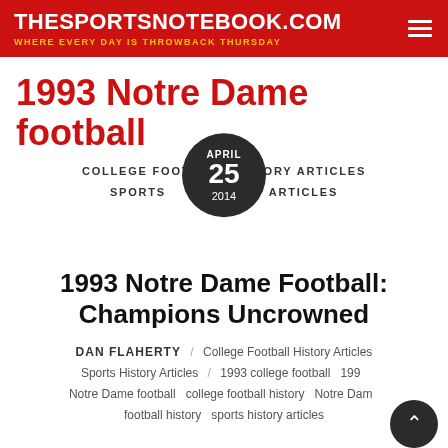THESPORTSNOTEBOOK.COM / WHERE EVERY DAY IS THROWBACK THURSDAY
1993 Notre Dame football
COLLEGE FOOTBALL HISTORY ARTICLES
SPORTS HISTORY ARTICLES
APRIL 25 2014
1993 Notre Dame Football: Champions Uncrowned
DAN FLAHERTY / College Football History Articles Sports History Articles / 1993 college football 1993 Notre Dame football college football history Notre Dame football history sports history articles